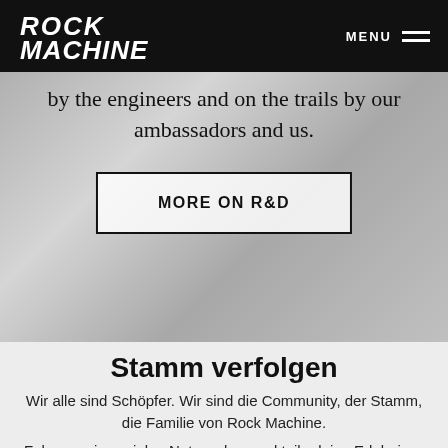Rock Machine — MENU
by the engineers and on the trails by our ambassadors and us.
MORE ON R&D
Stamm verfolgen
Wir alle sind Schöpfer. Wir sind die Community, der Stamm, die Familie von Rock Machine.
Folge uns in sozialen Netzwerken und teile deine Erlebnisse mit dem Bike mit dem Hashtag